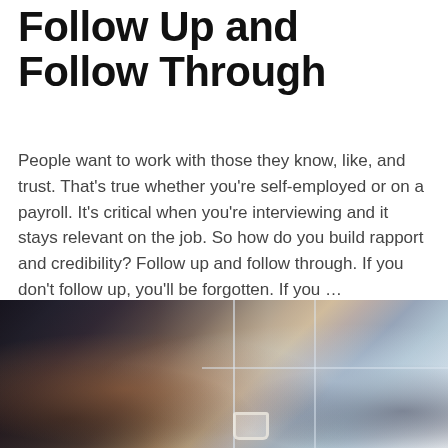Follow Up and Follow Through
People want to work with those they know, like, and trust. That's true whether you're self-employed or on a payroll. It's critical when you're interviewing and it stays relevant on the job. So how do you build rapport and credibility? Follow up and follow through. If you don't follow up, you'll be forgotten. If you … CONTINUE READING
[Figure (photo): Woman seen from behind sitting at a desk with a laptop and coffee cup, looking out through large windows in what appears to be a cafe or office setting.]